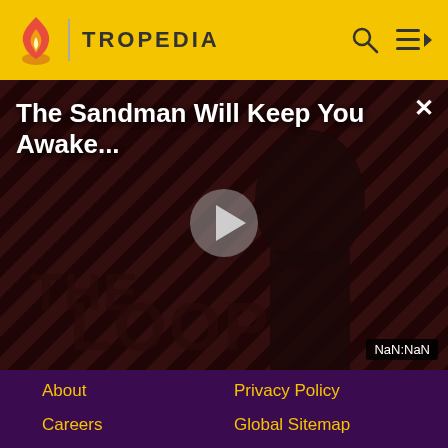TROPEDIA
[Figure (screenshot): Video thumbnail for 'The Sandman Will Keep You Awake...' with dark striped background, a figure in black, 'THE LOOP' watermark, play button, and NaN:NaN timer badge]
The Sandman Will Keep You Awake...
About
Privacy Policy
Careers
Global Sitemap
Press
Local Sitemap
Contact